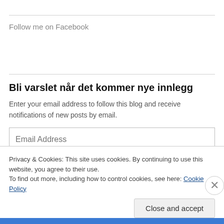Follow me on Facebook
Bli varslet når det kommer nye innlegg
Enter your email address to follow this blog and receive notifications of new posts by email.
Email Address
Privacy & Cookies: This site uses cookies. By continuing to use this website, you agree to their use.
To find out more, including how to control cookies, see here: Cookie Policy
Close and accept